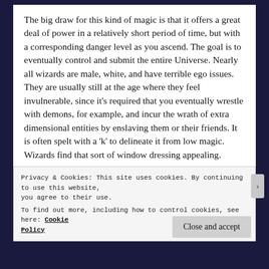The big draw for this kind of magic is that it offers a great deal of power in a relatively short period of time, but with a corresponding danger level as you ascend. The goal is to eventually control and submit the entire Universe. Nearly all wizards are male, white, and have terrible ego issues. They are usually still at the age where they feel invulnerable, since it’s required that you eventually wrestle with demons, for example, and incur the wrath of extra dimensional entities by enslaving them or their friends. It is often spelt with a ‘k’ to delineate it from low magic. Wizards find that sort of window dressing appealing.
Privacy & Cookies: This site uses cookies. By continuing to use this website, you agree to their use.
To find out more, including how to control cookies, see here: Cookie Policy